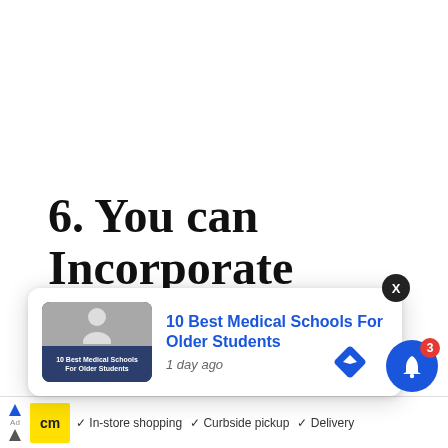6. You can Incorporate
[Figure (screenshot): Popup notification card showing '10 Best Medical Schools For Older Students' article link with thumbnail image and '1 day ago' timestamp, with X close button]
[Figure (other): Blue notification bell icon with red badge showing '3']
[Figure (other): Blue diamond navigation/turn icon]
[Figure (screenshot): Advertisement bar at bottom with yellow CM logo, In-store shopping, Curbside pickup and Delivery options with checkmarks]